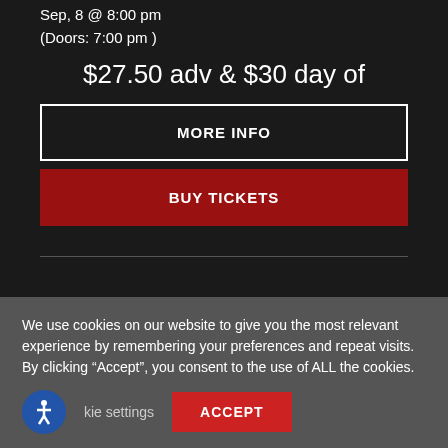Sep, 8 @ 8:00 pm
(Doors: 7:00 pm )
$27.50 adv & $30 day of
MORE INFO
BUY TICKETS
We use cookies on our website to give you the most relevant experience by remembering your preferences and repeat visits. By clicking “Accept”, you consent to the use of ALL the cookies.
Cookie settings
ACCEPT